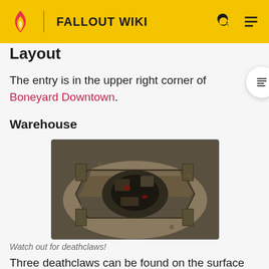FALLOUT WIKI
Layout
The entry is in the upper right corner of Boneyard Downtown.
Warehouse
[Figure (screenshot): Isometric game view of a warehouse area with deathclaws, surrounded by walls and debris in a post-apocalyptic setting.]
Watch out for deathclaws!
Three deathclaws can be found on the surface and will respawn one in-game hour after death if the area is re-ntered. Rarely, one or two may respawn instead of three